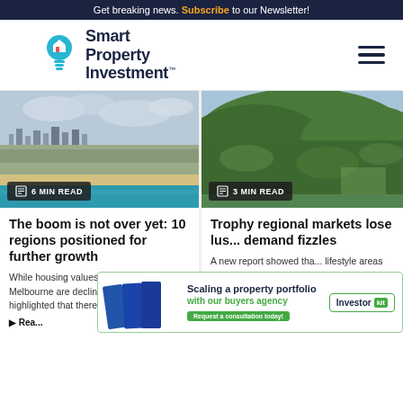Get breaking news. Subscribe to our Newsletter!
[Figure (logo): Smart Property Investment logo with lightbulb icon]
[Figure (photo): Aerial view of coastal city with beach and skyline, 6 MIN READ badge]
The boom is not over yet: 10 regions positioned for further growth
While housing values in Sydney and Melbourne are declining, an expert has highlighted that there are marke...
Read...
[Figure (photo): Aerial view of green hilly regional area, 3 MIN READ badge]
Trophy regional markets lose lus... demand fizzles
A new report showed tha... lifestyle areas — particu... and Queensland's trophy are now los...
[Figure (infographic): Advertisement banner: Scaling a property portfolio with our buyers agency. Investor Kit.]